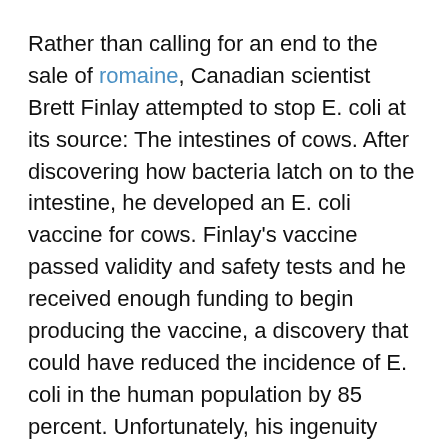Rather than calling for an end to the sale of romaine, Canadian scientist Brett Finlay attempted to stop E. coli at its source: The intestines of cows. After discovering how bacteria latch on to the intestine, he developed an E. coli vaccine for cows. Finlay's vaccine passed validity and safety tests and he received enough funding to begin producing the vaccine, a discovery that could have reduced the incidence of E. coli in the human population by 85 percent. Unfortunately, his ingenuity was not enough. Canadian cattle farmers rejected the idea, as the lack of monetary profit discouraged these farmers from taking on the added expense of the vaccines. The government likewise refused to pay for the vaccines, and production was forced to shut down.
This situation raises a serious ethical dilemma: Should the cattle farmers have sacrificed a percentage of their own